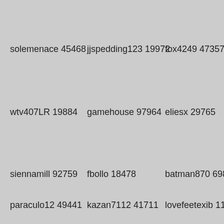solemenace 45468
jjspedding123 19972
fox4249 47357
wtv407LR 19884
gamehouse 97964
eliesx 29765
siennamill 92759
fbollo 18478
batman870 69871
paraculo12 49441
kazan7112 41711
lovefeetexib 11836